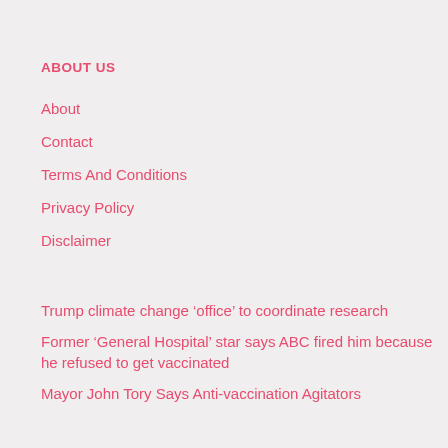ABOUT US
About
Contact
Terms And Conditions
Privacy Policy
Disclaimer
Trump climate change 'office' to coordinate research
Former ‘General Hospital’ star says ABC fired him because he refused to get vaccinated
Mayor John Tory Says Anti-vaccination Agitators